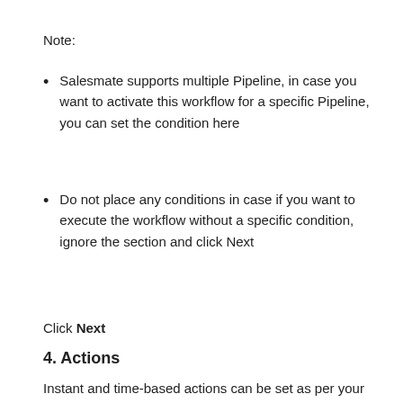Note:
Salesmate supports multiple Pipeline, in case you want to activate this workflow for a specific Pipeline, you can set the condition here
Do not place any conditions in case if you want to execute the workflow without a specific condition, ignore the section and click Next
Click Next
4. Actions
Instant and time-based actions can be set as per your business needs.
Update Fields